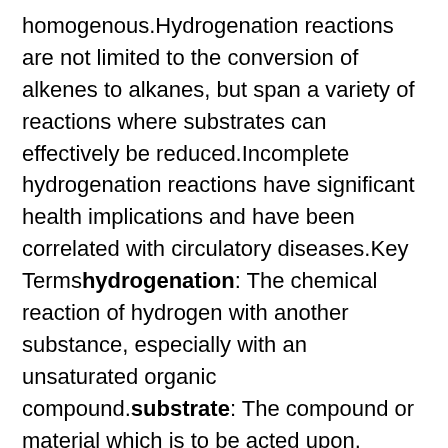homogenous.Hydrogenation reactions are not limited to the conversion of alkenes to alkanes, but span a variety of reactions where substrates can effectively be reduced.Incomplete hydrogenation reactions have significant health implications and have been correlated with circulatory diseases.Key Termshydrogenation: The chemical reaction of hydrogen with another substance, especially with an unsaturated organic compound.substrate: The compound or material which is to be acted upon.
Hydrogenation Reactions
Hydrogenation refers to the treatment of substances with molecular hydrogen (H2), adding pairs of hydrogen atoms to compounds (generally unsaturated compounds). These usually require a catalyst for the reaction to occur under normal conditions of temperature and pressure. Most hydrogenation reactions use gaseous hydrogen as